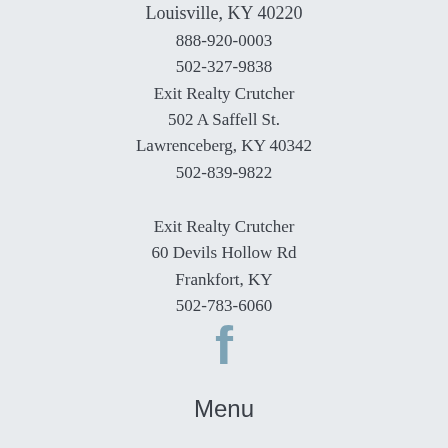Louisville, KY 40220
888-920-0003
502-327-9838
Exit Realty Crutcher
502 A Saffell St.
Lawrenceberg, KY 40342
502-839-9822
Exit Realty Crutcher
60 Devils Hollow Rd
Frankfort, KY
502-783-6060
[Figure (logo): Facebook logo icon in steel blue color]
Menu